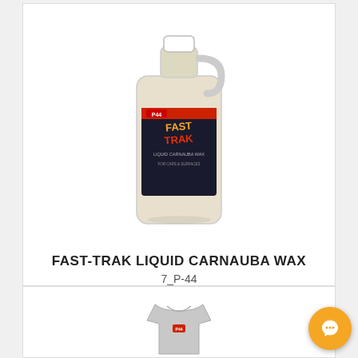[Figure (photo): A gallon jug of P44 Fast-Trak Liquid Carnauba Wax with a white cap and label on a white background]
FAST-TRAK LIQUID CARNAUBA WAX
7_P-44
$35.10 each
[Figure (other): 5 empty/outline star rating icons in gray]
Choose options
Share
Compare product
[Figure (photo): Partial view of a gray t-shirt with a logo]